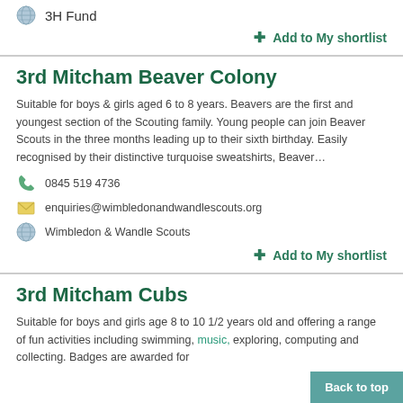3H Fund
+ Add to My shortlist
3rd Mitcham Beaver Colony
Suitable for boys & girls aged 6 to 8 years. Beavers are the first and youngest section of the Scouting family. Young people can join Beaver Scouts in the three months leading up to their sixth birthday. Easily recognised by their distinctive turquoise sweatshirts, Beaver…
0845 519 4736
enquiries@wimbledonandwandlescouts.org
Wimbledon & Wandle Scouts
+ Add to My shortlist
3rd Mitcham Cubs
Suitable for boys and girls age 8 to 10 1/2 years old and offering a range of fun activities including swimming, music, exploring, computing and collecting. Badges are awarded for
Back to top